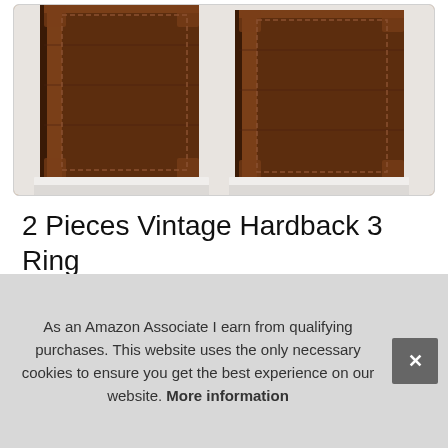[Figure (photo): Two dark brown vintage hardback 3-ring binders shown side by side, photographed from the spine/bottom angle on a white background. The binders have a textured leather-like cover with stitching details.]
2 Pieces Vintage Hardback 3 Ring Binder Portfolio Organizer 1 Inch Ro... Bi... wi...
As an Amazon Associate I earn from qualifying purchases. This website uses the only necessary cookies to ensure you get the best experience on our website. More information